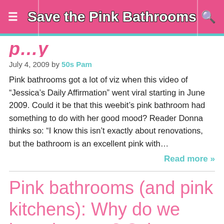Save the Pink Bathrooms
p…y
July 4, 2009 by 50s Pam
Pink bathrooms got a lot of viz when this video of “Jessica’s Daily Affirmation” went viral starting in June 2009. Could it be that this weebit’s pink bathroom had something to do with her good mood? Reader Donna thinks so: “I know this isn’t exactly about renovations, but the bathroom is an excellent pink with…
Read more »
Pink bathrooms (and pink kitchens): Why do we love them so? Science has an answer…